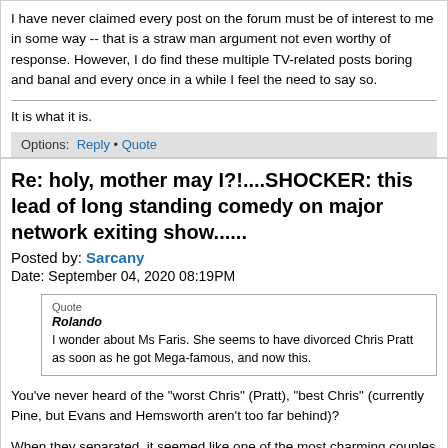I have never claimed every post on the forum must be of interest to me in some way -- that is a straw man argument not even worthy of response. However, I do find these multiple TV-related posts boring and banal and every once in a while I feel the need to say so.
It is what it is.
Options: Reply • Quote
Re: holy, mother may I?!....SHOCKER: this lead of long standing comedy on major network exiting show......
Posted by: Sarcany
Date: September 04, 2020 08:19PM
Quote
Rolando
I wonder about Ms Faris. She seems to have divorced Chris Pratt as soon as he got Mega-famous, and now this.
You've never heard of the "worst Chris" (Pratt), "best Chris" (currently Pine, but Evans and Hemsworth aren't too far behind)?
When they separated, it seemed like one of the most charming couples in Hollywood were breaking up, but in retrospect, since he's outed himself as a big jerk, it seems to have been good for her.